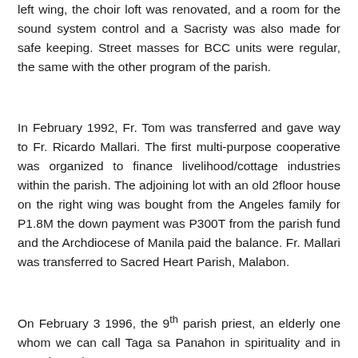left wing, the choir loft was renovated, and a room for the sound system control and a Sacristy was also made for safe keeping. Street masses for BCC units were regular, the same with the other program of the parish.
In February 1992, Fr. Tom was transferred and gave way to Fr. Ricardo Mallari. The first multi-purpose cooperative was organized to finance livelihood/cottage industries within the parish. The adjoining lot with an old 2floor house on the right wing was bought from the Angeles family for P1.8M the down payment was P300T from the parish fund and the Archdiocese of Manila paid the balance. Fr. Mallari was transferred to Sacred Heart Parish, Malabon.
On February 3 1996, the 9th parish priest, an elderly one whom we can call Taga sa Panahon in spirituality and in experience in